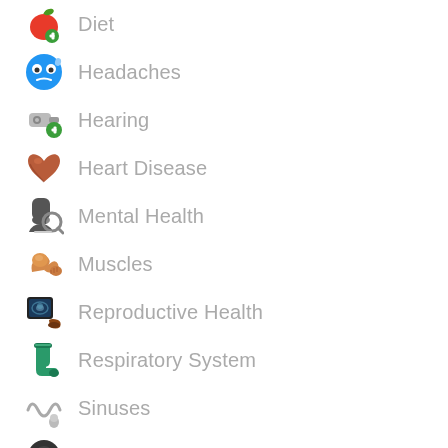Diet
Headaches
Hearing
Heart Disease
Mental Health
Muscles
Reproductive Health
Respiratory System
Sinuses
Bladder & ...